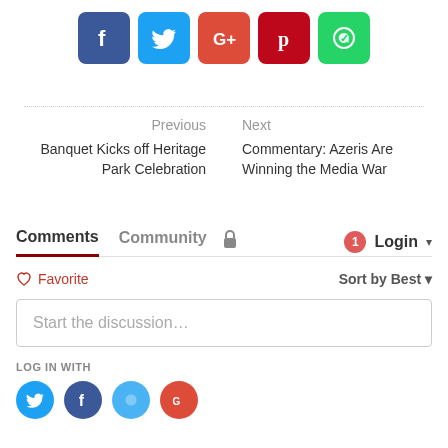[Figure (infographic): Social share buttons: Facebook (dark blue), Twitter (light blue), Google+ (red-orange), Pinterest (dark red), WhatsApp (green)]
Previous
Banquet Kicks off Heritage Park Celebration
Next
Commentary: Azeris Are Winning the Media War
Comments	Community	🔒	1	Login ▾
♡ Favorite	Sort by Best ▾
Start the discussion…
LOG IN WITH
[Figure (infographic): Social login icons: Twitter (light blue circle), Facebook (dark blue circle), partially visible blue circle, Google (red circle)]